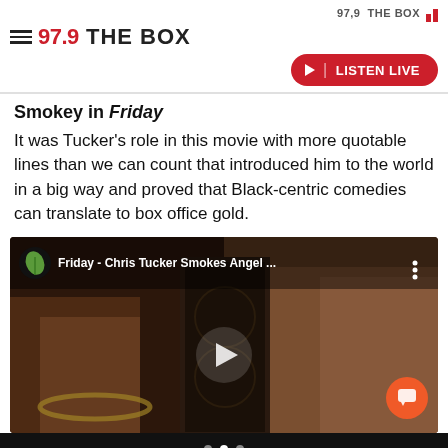97.9 THE BOX
Smokey in Friday
It was Tucker's role in this movie with more quotable lines than we can count that introduced him to the world in a big way and proved that Black-centric comedies can translate to box office gold.
[Figure (screenshot): Video thumbnail from YouTube showing two men from the movie Friday, with title overlay 'Friday - Chris Tucker Smokes Angel ...' and a play button in the center. A cannabis leaf icon is visible in the top-left of the thumbnail.]